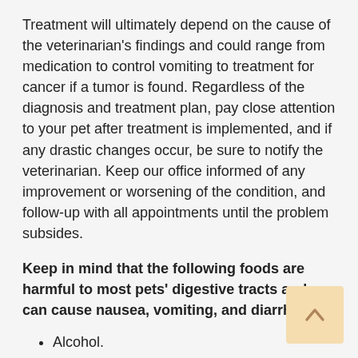Treatment will ultimately depend on the cause of the veterinarian's findings and could range from medication to control vomiting to treatment for cancer if a tumor is found. Regardless of the diagnosis and treatment plan, pay close attention to your pet after treatment is implemented, and if any drastic changes occur, be sure to notify the veterinarian. Keep our office informed of any improvement or worsening of the condition, and follow-up with all appointments until the problem subsides.
Keep in mind that the following foods are harmful to most pets' digestive tracts and can cause nausea, vomiting, and diarrhea:
Alcohol.
Avocados.
Baby food.
Chives.
Chocolate